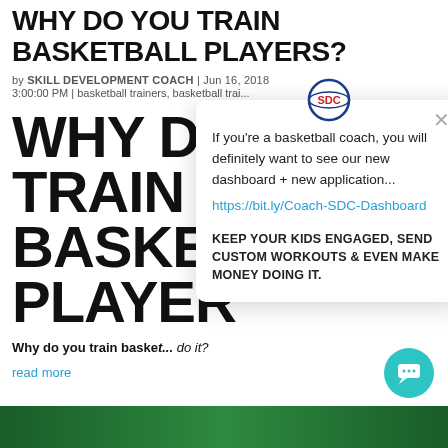WHY DO YOU TRAIN BASKETBALL PLAYERS?
by SKILL DEVELOPMENT COACH | Jun 16, 2018 3:00:00 PM | basketball trainers, basketball trai...
WHY DO TRAIN BASKET PLAYER
Why do you train basketball players? Why do it?
read more
[Figure (other): Popup overlay with SDC logo, close button, text about basketball coach dashboard, a link, and a CTA message]
[Figure (photo): Green banner/image at the bottom of the page]